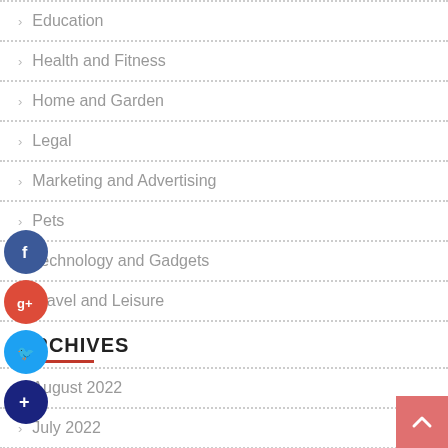Education
Health and Fitness
Home and Garden
Legal
Marketing and Advertising
Pets
Technology and Gadgets
Travel and Leisure
ARCHIVES
August 2022
July 2022
June 2022